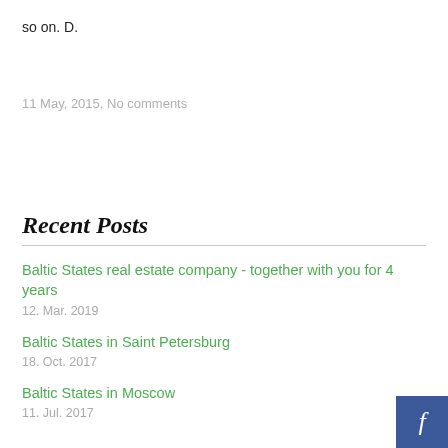so on. D.
11 May, 2015, No comments
Recent Posts
Baltic States real estate company - together with you for 4 years
12. Mar. 2019
Baltic States in Saint Petersburg
18. Oct. 2017
Baltic States in Moscow
11. Jul. 2017